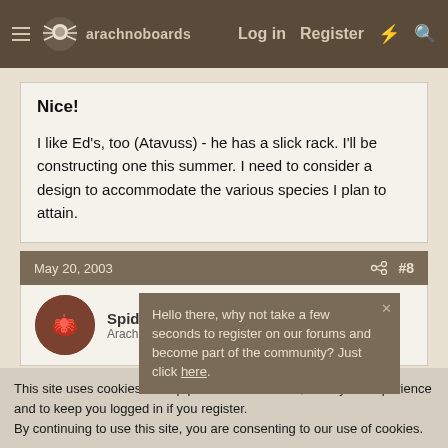arachnoboards — Log in  Register
Nice!
I like Ed's, too (Atavuss) - he has a slick rack. I'll be constructing one this summer. I need to consider a design to accommodate the various species I plan to attain.
May 20, 2003  #8
Spider... Arachn...
Hello there, why not take a few seconds to register on our forums and become part of the community? Just click here.
This site uses cookies to help personalise content, tailor your experience and to keep you logged in if you register.
By continuing to use this site, you are consenting to our use of cookies.
✓ Accept  Learn more...